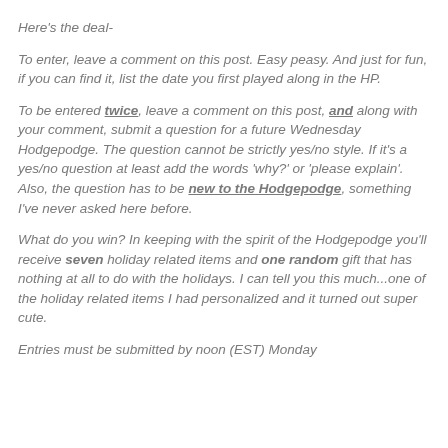Here's the deal-
To enter, leave a comment on this post. Easy peasy. And just for fun, if you can find it, list the date you first played along in the HP.
To be entered twice, leave a comment on this post, and along with your comment, submit a question for a future Wednesday Hodgepodge. The question cannot be strictly yes/no style. If it's a yes/no question at least add the words 'why?' or 'please explain'. Also, the question has to be new to the Hodgepodge, something I've never asked here before.
What do you win? In keeping with the spirit of the Hodgepodge you'll receive seven holiday related items and one random gift that has nothing at all to do with the holidays. I can tell you this much...one of the holiday related items I had personalized and it turned out super cute.
Entries must be submitted by noon (EST) Monday